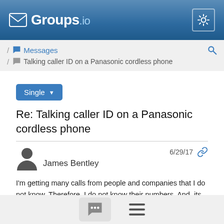Groups.io
/ Messages / Talking caller ID on a Panasonic cordless phone
Single
Re: Talking caller ID on a Panasonic cordless phone
James Bentley  6/29/17
I'm getting many calls from people and companies that I do not know.  Therefore, I do not know their numbers.  And, its too many calls to deal with.